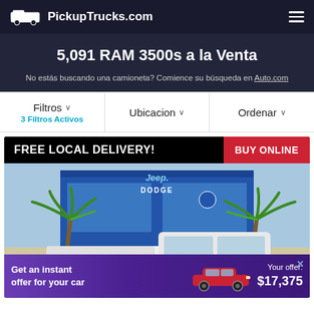PickupTrucks.com
5,091 RAM 3500s a la Venta
No estás buscando una camioneta? Comience su búsqueda en Auto.com
Filtros ∨  3 Filtros Activos | Ubicacion ∨ | Ordenar ∨
[Figure (photo): Advertisement banner showing a white RAM pickup truck parked in front of a Dodge/Jeep dealership with palm trees. Banner reads FREE LOCAL DELIVERY! BUY ONLINE. Bottom ad reads Get an instant offer for your car, Your offer: $17,375 with a red car image.]